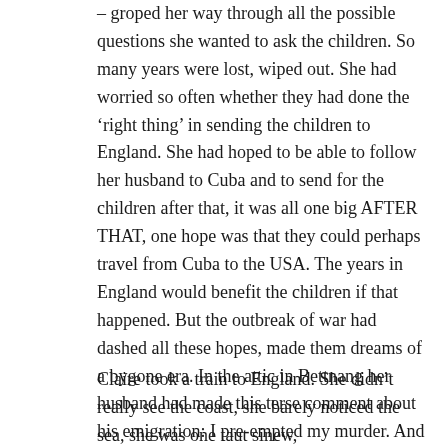– groped her way through all the possible questions she wanted to ask the children. So many years were lost, wiped out. She had worried so often whether they had done the 'right thing' in sending the children to England. She had hoped to be able to follow her husband to Cuba and to send for the children after that, it was all one big AFTER THAT, one hope was that they could perhaps travel from Cuba to the USA. The years in England would benefit the children if that happened. But the outbreak of war had dashed all these hopes, made them dreams of a bygone era. In the attic in Bettnang her husband had made this terse comment about his emigration: I pre-empted my murder. And she really couldn't disagree.
Claire took a train to England. She didn't really see the coast, she barely noticed the sea, she was one taut sinew,